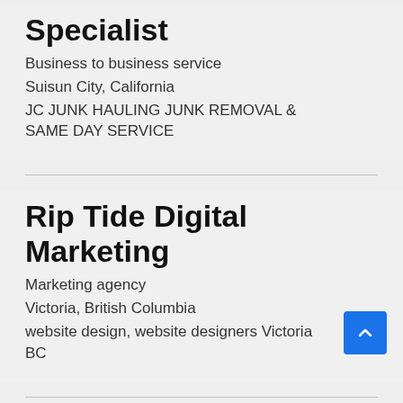Specialist
Business to business service
Suisun City, California
JC JUNK HAULING JUNK REMOVAL & SAME DAY SERVICE
Rip Tide Digital Marketing
Marketing agency
Victoria, British Columbia
website design, website designers Victoria BC
Garage Floor Epoxy Pros